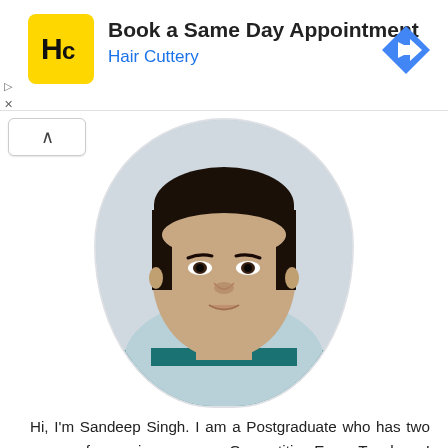[Figure (infographic): Hair Cuttery advertisement banner with yellow HC logo, text 'Book a Same Day Appointment' and 'Hair Cuttery' in blue, with a blue diamond navigation arrow on the right]
[Figure (photo): Profile photo of a young man (Sandeep Singh) in a rounded rectangle frame, wearing a light blue shirt with a teal stripe at the collar, dark hair, looking directly at the camera]
Hi, I'm Sandeep Singh. I am a Postgraduate who has two years of experience as a Competitive-Exam-Teacher. I have given many competitive exams and cleared some of them. Teaching is